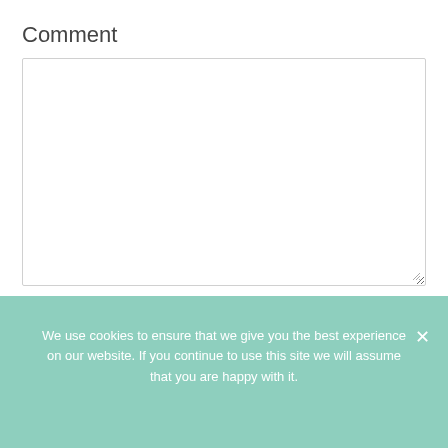Comment
[Figure (screenshot): Empty textarea input box for comment entry with resize handle in bottom-right corner]
Name (required)
[Figure (screenshot): Text input field for name entry with teal/mint colored border]
We use cookies to ensure that we give you the best experience on our website. If you continue to use this site we will assume that you are happy with it.